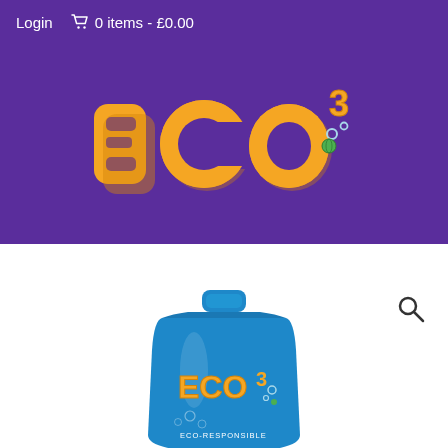Login  🛒 0 items - £0.00
[Figure (logo): ECO³ brand logo with large orange 3D bubble letters E, C, O and a superscript orange 3, with small blue/green bubble accents, on a purple background]
[Figure (photo): ECO³ product — a blue foil pouch/sachet with the ECO³ logo and text 'ECO-RESPONSIBLE' on it, partially visible at bottom of page]